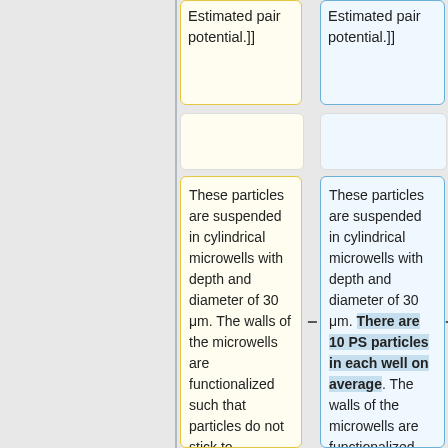Estimated pair potential.]]
Estimated pair potential.]]
These particles are suspended in cylindrical microwells with depth and diameter of 30 μm. The walls of the microwells are functionalized such that particles do not stick to surfaces. This allows clusters to form in the middle of the wells, unaffected by the
These particles are suspended in cylindrical microwells with depth and diameter of 30 μm. There are 10 PS particles in each well on average. The walls of the microwells are functionalized such that particles do not stick to surfaces. This allows clusters to form